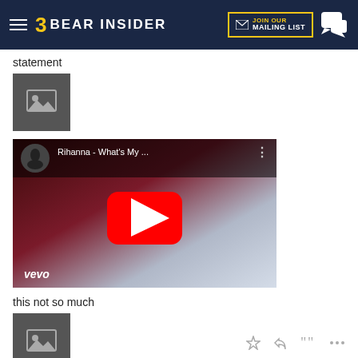Bear Insider
statement
[Figure (photo): Image placeholder icon (grey square with mountain/photo icon)]
[Figure (screenshot): YouTube video embed thumbnail for Rihanna - What's My ... with vevo branding and red play button]
this not so much
[Figure (photo): Image placeholder icon (grey square with mountain/photo icon)]
purple is the new black#:bravo